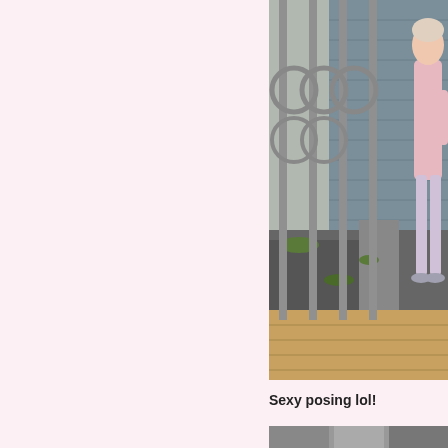[Figure (photo): Person in pink outfit standing on a wooden deck next to a metal fence with circular decorations. Background shows a garden area with gravel and a blue-grey building.]
Sexy posing lol!
[Figure (photo): Partially visible photo at the bottom of the page.]